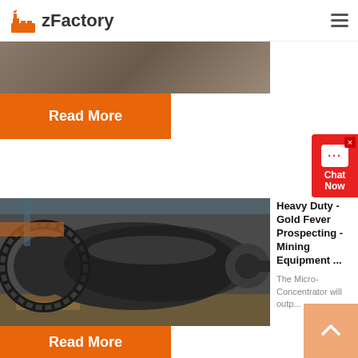zFactory
[Figure (photo): Partial view of factory/industrial equipment image strip at top]
Read More
[Figure (photo): Heavy duty mining equipment - large ball mill with gear ring in a factory setting]
Heavy Duty - Gold Fever Prospecting - Mining Equipment ...
The Micro-Concentrator will outp...
Read More